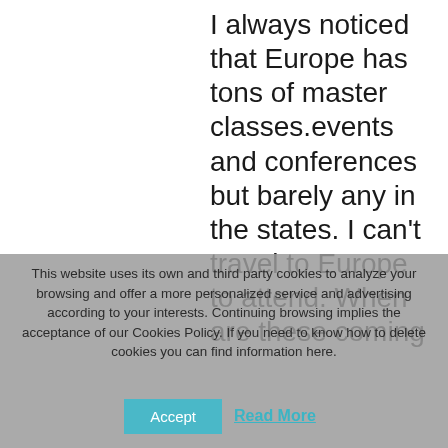I always noticed that Europe has tons of master classes.events and conferences but barely any in the states. I can't travel to Europe to attend. When are these coming
This website uses its own and third party cookies to analyze your browsing and offer a more personalized service and advertising according to your interests. Continuing browsing implies the acceptance of our Cookies Policy. If you need to know how to delete cookies you can find information here.